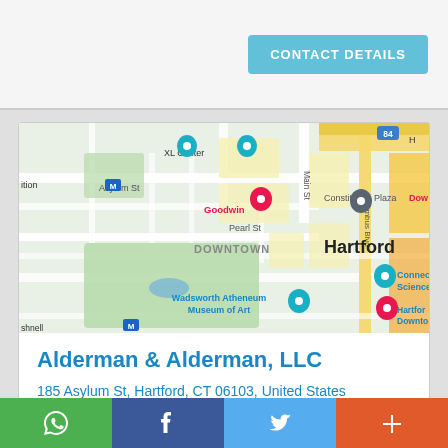CONTACT DETAILS
[Figure (map): Google Maps screenshot showing Downtown Hartford, CT. Landmarks visible include XL Center, Goodwin, Constitution Plaza, Wadsworth Atheneum Museum of Art, Connecticut Science, Hartford Downtown. Street labels include Asylum St, Church St, Main St, Columbus Blvd, Pearl St.]
Alderman & Alderman, LLC
185 Asylum St, Hartford, CT 06103, United States
Location: (41.7667964, -72.6761969)